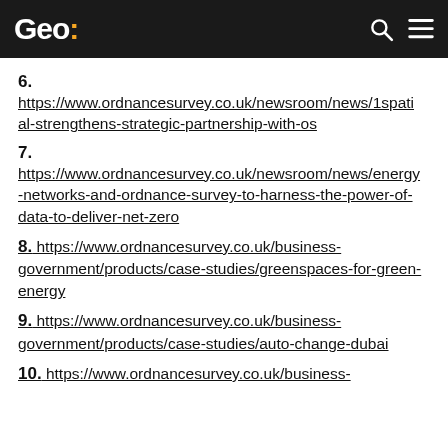Geo:
6.
https://www.ordnancesurvey.co.uk/newsroom/news/1spatial-strengthens-strategic-partnership-with-os
7.
https://www.ordnancesurvey.co.uk/newsroom/news/energy-networks-and-ordnance-survey-to-harness-the-power-of-data-to-deliver-net-zero
8. https://www.ordnancesurvey.co.uk/business-government/products/case-studies/greenspaces-for-green-energy
9. https://www.ordnancesurvey.co.uk/business-government/products/case-studies/auto-change-dubai
10. https://www.ordnancesurvey.co.uk/business-